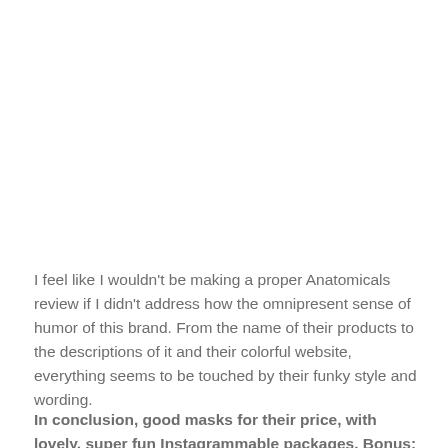I feel like I wouldn't be making a proper Anatomicals review if I didn't address how the omnipresent sense of humor of this brand. From the name of their products to the descriptions of it and their colorful website, everything seems to be touched by their funky style and wording.
In conclusion, good masks for their price, with lovely, super fun Instagrammable packages. Bonus: